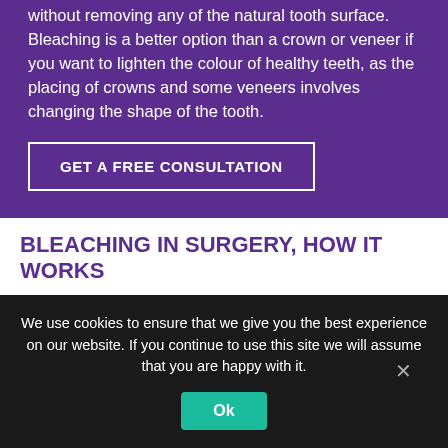without removing any of the natural tooth surface. Bleaching is a better option than a crown or veneer if you want to lighten the colour of healthy teeth, as the placing of crowns and some veneers involves changing the shape of the tooth.
GET A FREE CONSULTATION
BLEACHING IN SURGERY, HOW IT WORKS
Your dentist (or dental care professional) will use stronger bleach than what you can use at home. This method is used to bleach all teeth at the same. The strong bleach will touch
We use cookies to ensure that we give you the best experience on our website. If you continue to use this site we will assume that you are happy with it.
Ok